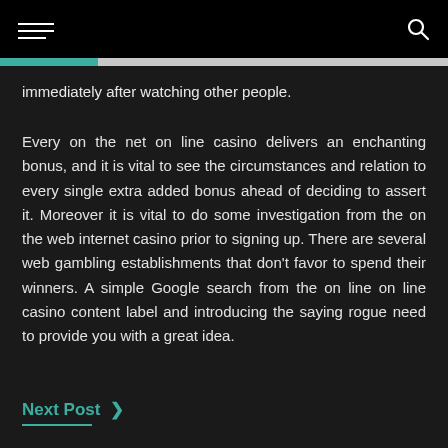immediately after watching other people.
Every on the net on line casino delivers an enchanting bonus, and it is vital to see the circumstances and relation to every single extra added bonus ahead of deciding to assert it. Moreover it is vital to do some investigation from the on the web internet casino prior to signing up. There are several web gambling establishments that don't favor to spend their winners. A simple Google search from the on line on line casino content label and introducing the saying rogue need to provide you with a great idea.
Next Post >